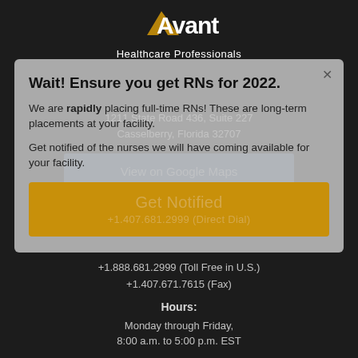[Figure (logo): Avant Healthcare Professionals logo with golden arrow and white text on dark background]
Avant Healthcare Professionals
1211 State Road 436, Suite 227
Casselberry, Florida 32707
View on Google Maps
Wait! Ensure you get RNs for 2022.
We are rapidly placing full-time RNs! These are long-term placements at your facility.
Get notified of the nurses we will have coming available for your facility.
Get Notified
+1.407.681.2999 (Direct Dial)
+1.888.681.2999 (Toll Free in U.S.)
+1.407.671.7615 (Fax)
Hours:
Monday through Friday,
8:00 a.m. to 5:00 p.m. EST